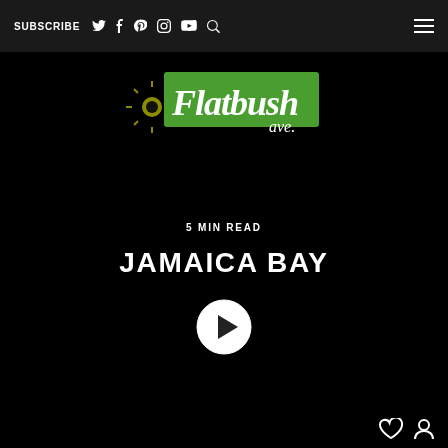SUBSCRIBE
[Figure (logo): Flatbush Ave. logo with green background and stylized text]
5 MIN READ
JAMAICA BAY
[Figure (other): Play button circle icon]